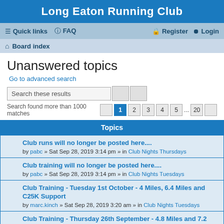Long Eaton Running Club
≡ Quick links  ? FAQ    Register  Login
Board index
Unanswered topics
Go to advanced search
Search these results
Search found more than 1000 matches  [prev] 1 2 3 4 5 ... 20 [next]
Topics
Club runs will no longer be posted here....
by pabc » Sat Sep 28, 2019 3:14 pm » in Club Nights Thursdays
Club training will no longer be posted here....
by pabc » Sat Sep 28, 2019 3:14 pm » in Club Nights Tuesdays
Club Training - Tuesday 1st October - 4 Miles, 6.4 Miles and C25K Support
by marc.kinch » Sat Sep 28, 2019 3:20 am » in Club Nights Tuesdays
Club Training - Thursday 26th September - 4.8 Miles and 7.2 Miles
by marc.kinch » Wed Sep 25, 2019 6:36 am » in Club Nights Thursdays
Club Training - Tuesday 24th September - 5.7 Miles, 3 Miles...